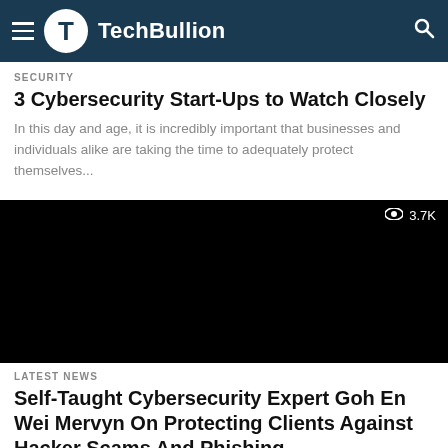TechBullion
SECURITY
3 Cybersecurity Start-Ups to Watch Closely
In this day and age, it is incredibly important that businesses and individuals alike are taking the time to adequately protect themselves...
[Figure (photo): Black image thumbnail with eye icon and view count 3.7K in top right corner]
LATEST NEWS
Self-Taught Cybersecurity Expert Goh En Wei Mervyn On Protecting Clients Against Hacker Scams And Phishing